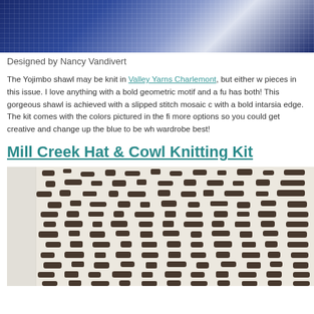[Figure (photo): Close-up top portion of a knitted shawl with navy blue and white geometric/mosaic pattern]
Designed by Nancy Vandivert
The Yojimbo shawl may be knit in Valley Yarns Charlemont, but either w... pieces in this issue. I love anything with a bold geometric motif and a fu... has both! This gorgeous shawl is achieved with a slipped stitch mosaic c... with a bold intarsia edge. The kit comes with the colors pictured in the fi... more options so you could get creative and change up the blue to be wh... wardrobe best!
Mill Creek Hat & Cowl Knitting Kit
[Figure (photo): Close-up of a knitted hat or cowl with dark brown and cream/white Fair Isle or stranded colorwork pattern, intricate floral/geometric design]